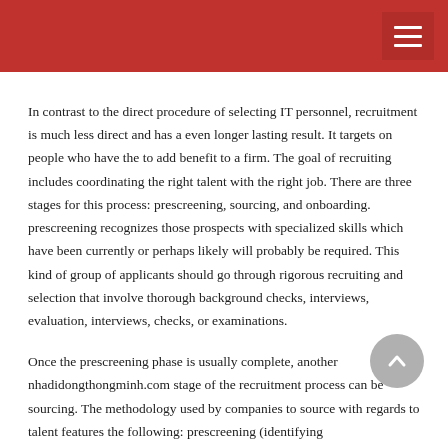programs, and the like.
In contrast to the direct procedure of selecting IT personnel, recruitment is much less direct and has a even longer lasting result. It targets on people who have the to add benefit to a firm. The goal of recruiting includes coordinating the right talent with the right job. There are three stages for this process: prescreening, sourcing, and onboarding. prescreening recognizes those prospects with specialized skills which have been currently or perhaps likely will probably be required. This kind of group of applicants should go through rigorous recruiting and selection that involve thorough background checks, interviews, evaluation, interviews, checks, or examinations.
Once the prescreening phase is usually complete, another nhadidongthongminh.com stage of the recruitment process can be sourcing. The methodology used by companies to source with regards to talent features the following: prescreening (identifying